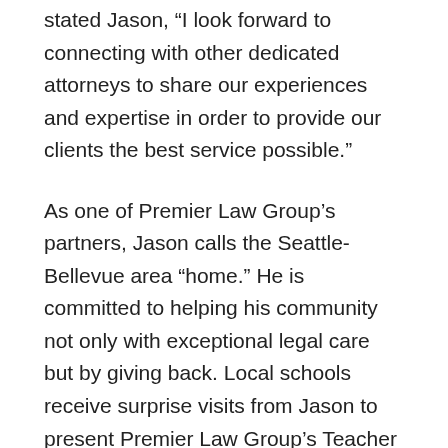stated Jason, “I look forward to connecting with other dedicated attorneys to share our experiences and expertise in order to provide our clients the best service possible.”
As one of Premier Law Group’s partners, Jason calls the Seattle-Bellevue area “home.” He is committed to helping his community not only with exceptional legal care but by giving back. Local schools receive surprise visits from Jason to present Premier Law Group’s Teacher of the Month awards, recognizing the importance and outstanding contributions of local educators. As the founder of Teens Against Distracted Driving (TADD), Jason is also dedicated to raising awareness about the dangers of texting while driving.